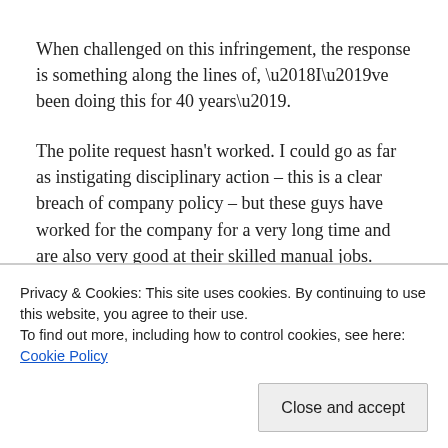When challenged on this infringement, the response is something along the lines of, ‘I’ve been doing this for 40 years’.
The polite request hasn't worked. I could go as far as instigating disciplinary action – this is a clear breach of company policy – but these guys have worked for the company for a very long time and are also very good at their skilled manual jobs.
My preferred route in this situation is to offer a little bit of
Privacy & Cookies: This site uses cookies. By continuing to use this website, you agree to their use.
To find out more, including how to control cookies, see here: Cookie Policy